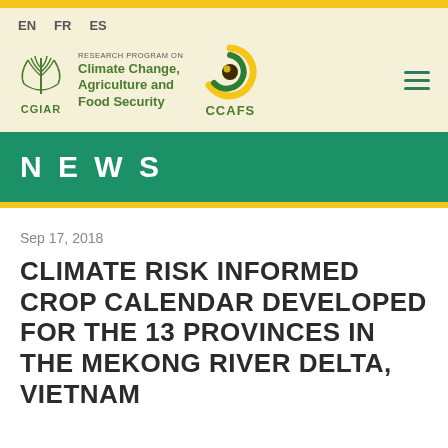EN  FR  ES
[Figure (logo): CGIAR and CCAFS logos with text: RESEARCH PROGRAM ON Climate Change, Agriculture and Food Security]
NEWS
Sep 17, 2018
CLIMATE RISK INFORMED CROP CALENDAR DEVELOPED FOR THE 13 PROVINCES IN THE MEKONG RIVER DELTA, VIETNAM